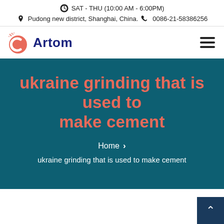SAT - THU (10:00 AM - 6:00PM)
Pudong new district, Shanghai, China.  0086-21-58386256
[Figure (logo): Artom company logo with red circular C icon and blue 'Artom' text]
ukraine grinding that is used to make cement
Home  >  ukraine grinding that is used to make cement